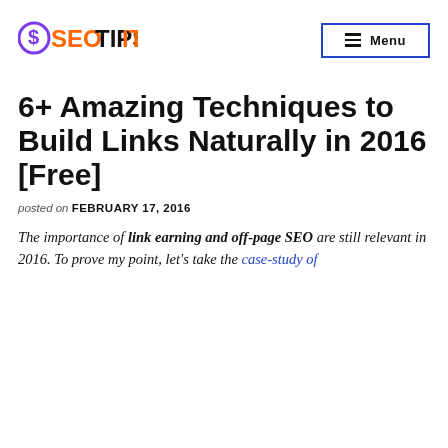SEOTIPSIT | Menu
6+ Amazing Techniques to Build Links Naturally in 2016 [Free]
posted on FEBRUARY 17, 2016
The importance of link earning and off-page SEO are still relevant in 2016. To prove my point, let's take the case-study of